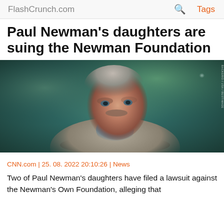FlashCrunch.com    Q    Tags
Paul Newman's daughters are suing the Newman Foundation
[Figure (photo): Photo of Paul Newman, a middle-aged man with grey hair and a mustache, wearing a light grey sweater over a blue collared shirt, looking to the side against a blurred green background]
CNN.com | 25. 08. 2022 20:10:26 | News
Two of Paul Newman's daughters have filed a lawsuit against the Newman's Own Foundation, alleging that